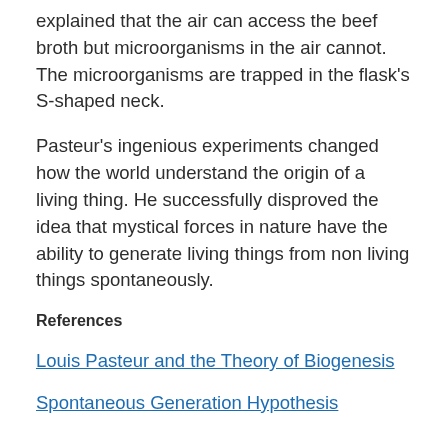explained that the air can access the beef broth but microorganisms in the air cannot. The microorganisms are trapped in the flask's S-shaped neck.
Pasteur's ingenious experiments changed how the world understand the origin of a living thing. He successfully disproved the idea that mystical forces in nature have the ability to generate living things from non living things spontaneously.
References
Louis Pasteur and the Theory of Biogenesis
Spontaneous Generation Hypothesis